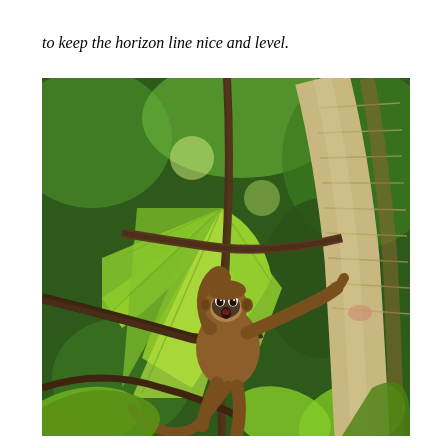to keep the horizon line nice and level.
[Figure (photo): A spider monkey with a surprised or alarmed expression hangs among bright green tropical leaves and branches in a lush jungle setting. The monkey has dark facial markings with wide eyes and an open mouth, and brown fur on its body. A large pale tree trunk is visible on the right side of the image.]